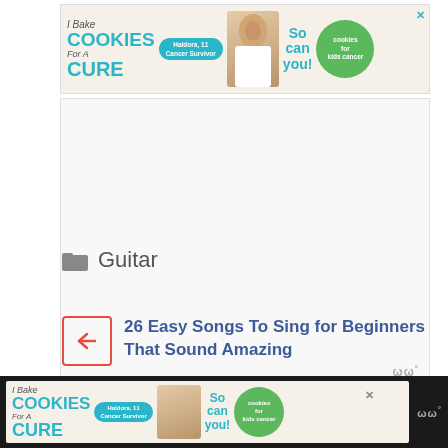[Figure (illustration): Cookies for Kids Cancer advertisement banner at top. Features 'I Bake COOKIES For A CURE' text in teal, a photo of a girl Haldora age 11 cancer survivor, 'So can you!' text, and green cookies for kids cancer circular logo.]
[Figure (other): Large white/light gray advertising placeholder area with Woo logo in bottom right corner.]
Guitar
26 Easy Songs To Sing for Beginners That Sound Amazing
[Figure (illustration): Bottom sticky Cookies for Kids Cancer advertisement banner on dark background. Same content as top banner.]